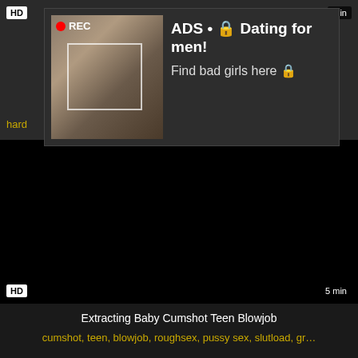[Figure (screenshot): Video thumbnail area at top with HD badge and duration, dark background]
hard... n, ...
[Figure (advertisement): Ad overlay showing a woman taking a selfie with camera focus overlay, REC indicator, and text: ADS • Dating for men! Find bad girls here]
[Figure (screenshot): Main dark video player area with HD badge and 5 min duration label]
Extracting Baby Cumshot Teen Blowjob
cumshot, teen, blowjob, roughsex, pussy sex, slutload, gr...